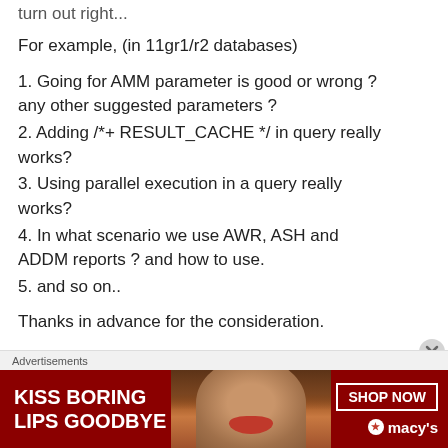turn out right...
For example, (in 11gr1/r2 databases)
1. Going for AMM parameter is good or wrong ? any other suggested parameters ?
2. Adding /*+ RESULT_CACHE */ in query really works?
3. Using parallel execution in a query really works?
4. In what scenario we use AWR, ASH and ADDM reports ? and how to use.
5. and so on..
Thanks in advance for the consideration.
Advertisements
[Figure (photo): Advertisement banner for Macy's lip products with text 'KISS BORING LIPS GOODBYE' and 'SHOP NOW' button with Macy's logo]